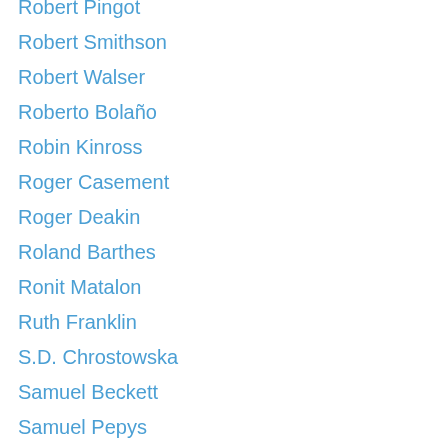Robert Pingot
Robert Smithson
Robert Walser
Roberto Bolaño
Robin Kinross
Roger Casement
Roger Deakin
Roland Barthes
Ronit Matalon
Ruth Franklin
S.D. Chrostowska
Samuel Beckett
Samuel Pepys
Saturn's Moons
Sebald & Art
Sebald & Dance
Sebald & Film
Sebald & Literature
Sebald & Music
Sebald & Science